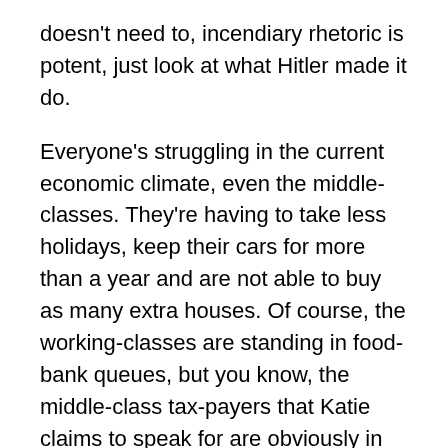doesn't need to, incendiary rhetoric is potent, just look at what Hitler made it do.
Everyone's struggling in the current economic climate, even the middle-classes. They're having to take less holidays, keep their cars for more than a year and are not able to buy as many extra houses. Of course, the working-classes are standing in food-bank queues, but you know, the middle-class tax-payers that Katie claims to speak for are obviously in greater need of a defender.
Except it's not the middle-classes that love her, in the main, they think she's awful, because she apparently has no compassion, lacking the 'love for humanity' that the middle class assume they have as they discuss poverty over a biscuity Chardonnay. It's the working-classes that love her, because they see a posh bitch who seems to be